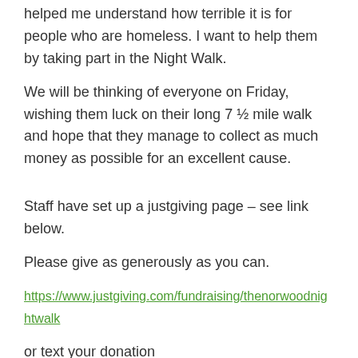helped me understand how terrible it is for people who are homeless. I want to help them by taking part in the Night Walk.
We will be thinking of everyone on Friday, wishing them luck on their long 7 ½ mile walk and hope that they manage to collect as much money as possible for an excellent cause.
Staff have set up a justgiving page – see link below.
Please give as generously as you can.
https://www.justgiving.com/fundraising/thenorwoodnightwalk
or text your donation
Text NSNW60 £1 to 70070
Students will be circulating the school in tutor time and